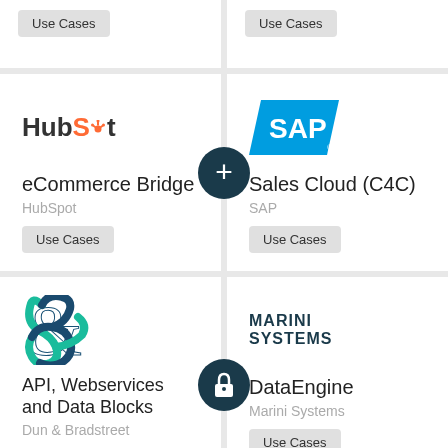[Figure (other): Use Cases button top-left card (partial)]
[Figure (other): Use Cases button top-right card (partial)]
[Figure (logo): HubSpot logo]
eCommerce Bridge
HubSpot
Use Cases
[Figure (logo): SAP logo - blue triangle with SAP text]
Sales Cloud (C4C)
SAP
Use Cases
[Figure (logo): Dun & Bradstreet ampersand logo in teal/dark blue]
API, Webservices and Data Blocks
Dun & Bradstreet
Use Cases
[Figure (logo): Marini Systems text logo]
DataEngine
Marini Systems
Use Cases